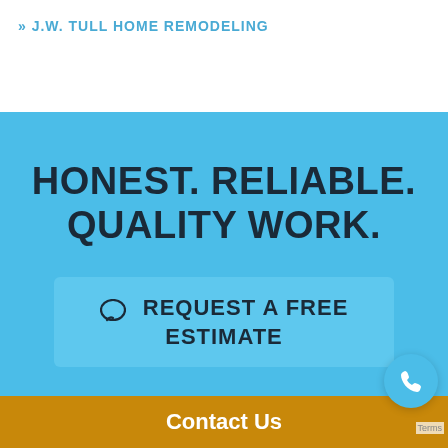» J.W. TULL HOME REMODELING
HONEST. RELIABLE. QUALITY WORK.
○ REQUEST A FREE ESTIMATE
Contact Us